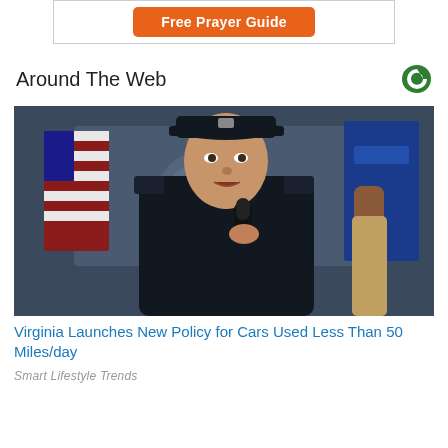[Figure (illustration): Orange 'Free Prayer Guide' button banner advertisement]
Around The Web
[Figure (photo): A police officer in uniform wearing a peaked cap and holding a microphone, speaking at what appears to be a press conference. An American flag and a blue flag are visible in the background, along with what looks like a Department of Justice seal.]
Virginia Launches New Policy for Cars Used Less Than 50 Miles/day
Smart Lifestyle Trends